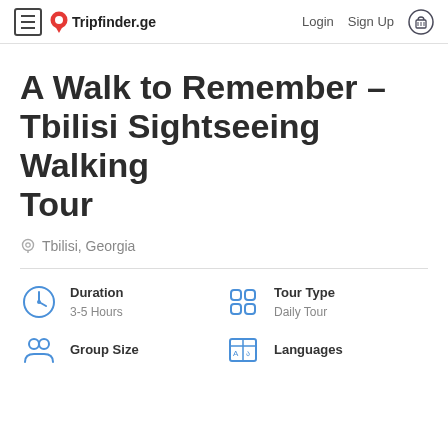Tripfinder.ge | Login | Sign Up
A Walk to Remember – Tbilisi Sightseeing Walking Tour
Tbilisi, Georgia
Duration
3-5 Hours
Tour Type
Daily Tour
Group Size
Languages